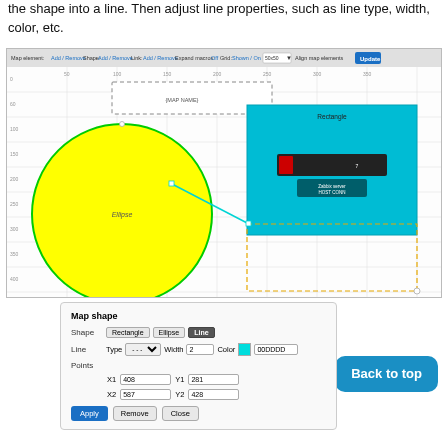the shape into a line. Then adjust line properties, such as line type, width, color, etc.
[Figure (screenshot): Screenshot of a map editor tool showing a canvas with a yellow ellipse shape, a cyan rectangle containing a Zabbix server host icon, a dashed orange selection rectangle, a dashed gray map name box, and a cyan line connecting the ellipse and rectangle. A toolbar at the top has Map element Add/Remove, Shape Add/Remove, Link Add/Remove, Expand macros Off, Grid Shown/On 50x50, Align map elements, and Update button.]
[Figure (screenshot): Map shape panel showing Shape buttons: Rectangle, Ellipse, Line (active/dark). Line section with Type (dashed dropdown), Width 2, Color 00DDDD. Points section with X1 408, Y1 281, X2 587, Y2 428. Apply, Remove, Close buttons at bottom.]
Back to top